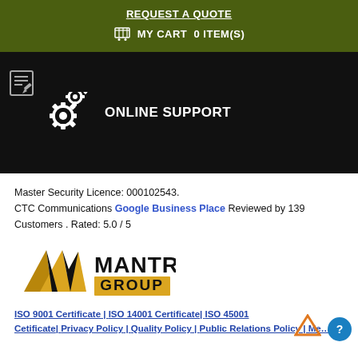REQUEST A QUOTE
MY CART  0 ITEM(S)
[Figure (screenshot): Dark bar with gear icons and ONLINE SUPPORT label]
Master Security Licence: 000102543.
CTC Communications Google Business Place Reviewed by 139 Customers . Rated: 5.0 / 5
[Figure (logo): MANTR GROUP logo with gold and black triangular mountain shapes]
ISO 9001 Certificate | ISO 14001 Certificate| ISO 45001 Cetificate| Privacy Policy | Quality Policy | Public Relations Policy | Me...